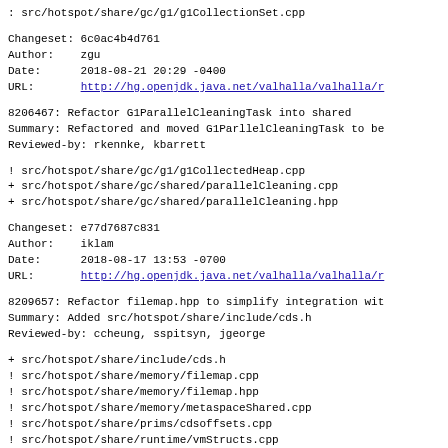: src/hotspot/share/gc/g1/g1CollectionSet.cpp
Changeset: 6c0ac4b4d761
Author:    zgu
Date:      2018-08-21 20:29 -0400
URL:       http://hg.openjdk.java.net/valhalla/valhalla/r
8206467: Refactor G1ParallelCleaningTask into shared
Summary: Refactored and moved G1ParllelCleaningTask to be
Reviewed-by: rkennke, kbarrett
! src/hotspot/share/gc/g1/g1CollectedHeap.cpp
+ src/hotspot/share/gc/shared/parallelCleaning.cpp
+ src/hotspot/share/gc/shared/parallelCleaning.hpp
Changeset: e77d7687c831
Author:    iklam
Date:      2018-08-17 13:53 -0700
URL:       http://hg.openjdk.java.net/valhalla/valhalla/r
8209657: Refactor filemap.hpp to simplify integration wit
Summary: Added src/hotspot/share/include/cds.h
Reviewed-by: ccheung, sspitsyn, jgeorge
+ src/hotspot/share/include/cds.h
! src/hotspot/share/memory/filemap.cpp
! src/hotspot/share/memory/filemap.hpp
! src/hotspot/share/memory/metaspaceShared.cpp
! src/hotspot/share/prims/cdsoffsets.cpp
! src/hotspot/share/runtime/vmStructs.cpp
! src/jdk.hotspot.agent/linux/native/libsaproc/ps_core.c